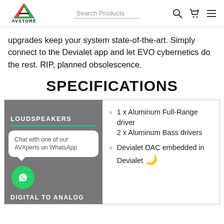AV STORE | Search Products
upgrades keep your system state-of-the-art. Simply connect to the Devialet app and let EVO cybernetics do the rest. RIP, planned obsolescence.
SPECIFICATIONS
LOUDSPEAKERS
Chat with one of our AVXperts on WhatsApp
1 x Aluminum Full-Range driver 2 x Aluminum Bass drivers
Devialet DAC embedded in Devialet
DIGITAL TO ANALOG